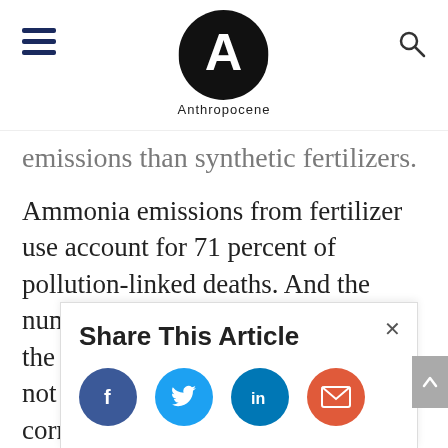Anthropocene
emissions than synthetic fertilizers.
Ammonia emissions from fertilizer use account for 71 percent of pollution-linked deaths. And the numbers don't paint the full picture, the researchers say, because they do not consider what happens to the corn after it is produced. Almost 90
Share This Article
[Figure (infographic): Share icons: Facebook (blue circle with f), Twitter (light blue circle with bird), LinkedIn (teal circle with in), Email (red-orange circle with envelope)]